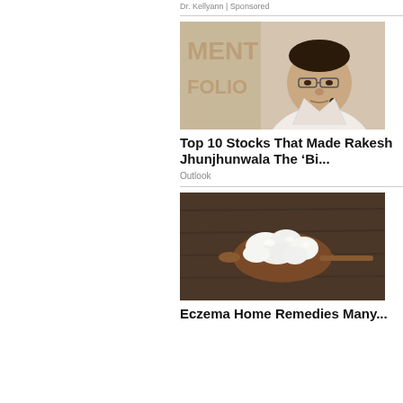Dr. Kellyann | Sponsored
[Figure (photo): Photo of Rakesh Jhunjhunwala, a heavyset man in white shirt at a podium with a sign reading MENT FOLIO in the background]
Top 10 Stocks That Made Rakesh Jhunjhunwala The ‘Bi...
Outlook
[Figure (photo): Photo of white cottage cheese (paneer) pieces on a wooden spoon on a dark wooden surface]
Eczema Home Remedies Many...